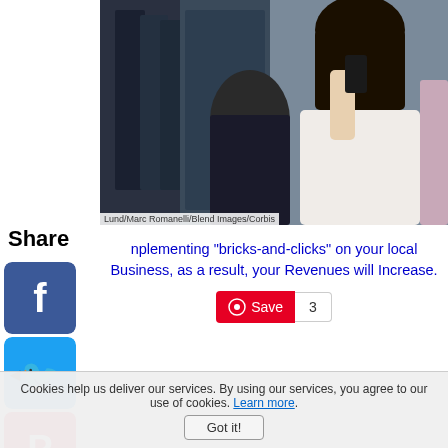[Figure (photo): Woman holding smartphone in a clothing store, browsing or taking a photo of merchandise. Credit: Lund/Marc Romanelli/Blend Images/Corbis]
Lund/Marc Romanelli/Blend Images/Corbis
nplementing "bricks-and-clicks" on your local Business, as a result, your Revenues will Increase.
[Figure (other): Pinterest Save button with count of 3]
Share
[Figure (logo): Facebook share icon]
[Figure (logo): Twitter share icon]
[Figure (logo): Pinterest share icon]
[Figure (logo): Tumblr share icon]
[Figure (logo): Reddit share icon]
[Figure (logo): WhatsApp share icon]
Cookies help us deliver our services. By using our services, you agree to our use of cookies. Learn more.
Got it!